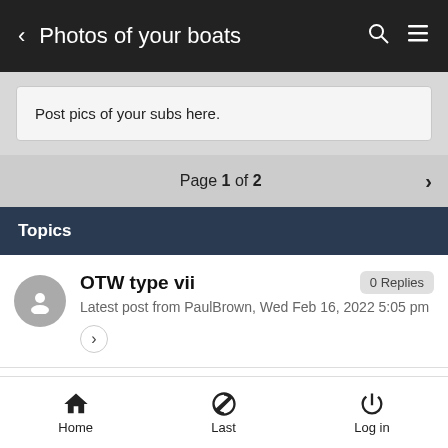< Photos of your boats
Post pics of your subs here.
Page 1 of 2
Topics
OTW type vii
Latest post from PaulBrown, Wed Feb 16, 2022 5:05 pm
0 Replies
Home  Last  Log in